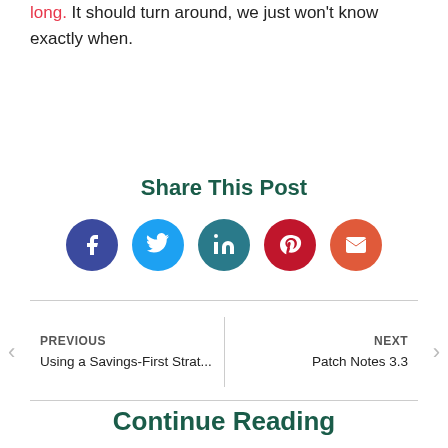long. It should turn around, we just won't know exactly when.
Share This Post
[Figure (infographic): Five social media share icon buttons in circles: Facebook (dark blue), Twitter (light blue), LinkedIn (teal), Pinterest (dark red), Email (orange-red)]
PREVIOUS
Using a Savings-First Strat...
NEXT
Patch Notes 3.3
Continue Reading